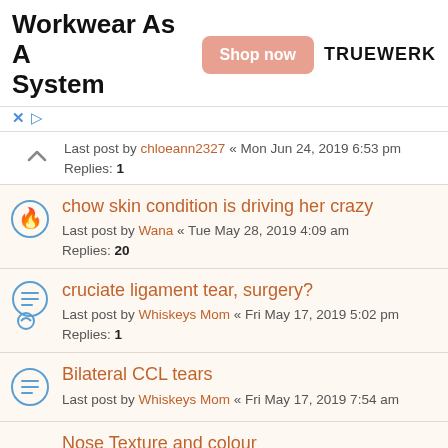[Figure (other): Advertisement banner: 'Workwear As A System' with orange 'Shop now' button and TRUEWERK brand logo]
Last post by chloeann2327 « Mon Jun 24, 2019 6:53 pm
Replies: 1
chow skin condition is driving her crazy
Last post by Wana « Tue May 28, 2019 4:09 am
Replies: 20
cruciate ligament tear, surgery?
Last post by Whiskeys Mom « Fri May 17, 2019 5:02 pm
Replies: 1
Bilateral CCL tears
Last post by Whiskeys Mom « Fri May 17, 2019 7:54 am
Nose Texture and colour